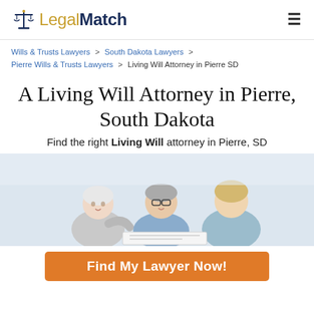LegalMatch
Wills & Trusts Lawyers > South Dakota Lawyers > Pierre Wills & Trusts Lawyers > Living Will Attorney in Pierre SD
A Living Will Attorney in Pierre, South Dakota
Find the right Living Will attorney in Pierre, SD
[Figure (photo): An elderly couple consulting with a female attorney or advisor, seated together reviewing documents]
Find My Lawyer Now!